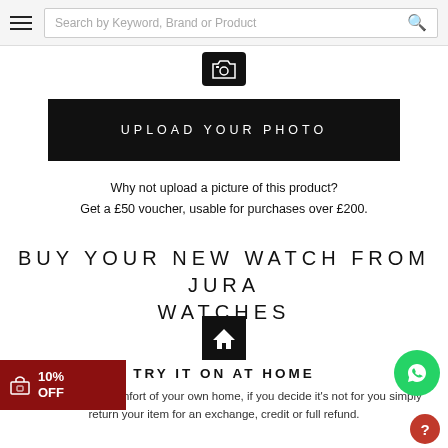Search by Keyword, Brand or Product
[Figure (other): Camera icon in black square]
UPLOAD YOUR PHOTO
Why not upload a picture of this product? Get a £50 voucher, usable for purchases over £200.
BUY YOUR NEW WATCH FROM JURA WATCHES
[Figure (other): Home/house icon in black square]
TRY IT ON AT HOME
Try items in the comfort of your own home, if you decide it's not for you simply return your item for an exchange, credit or full refund.